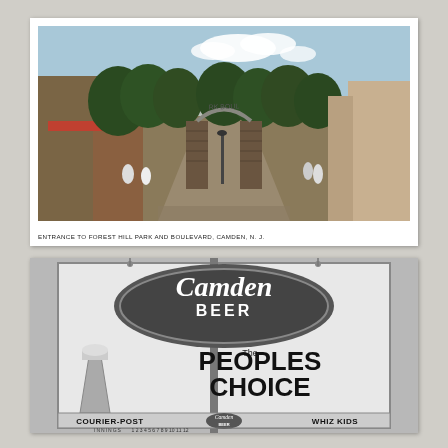[Figure (photo): Colorized vintage postcard photo of the entrance to Forest Hill Park and Boulevard in Camden, NJ. Shows stone gateway pillars with an arch reading 'Park Boulevard', trees, road, and pedestrians.]
ENTRANCE TO FOREST HILL PARK AND BOULEVARD, CAMDEN, N. J.
[Figure (photo): Black and white photograph of a Camden Beer advertising scoreboard billboard reading 'Camden BEER — The PEOPLES CHOICE' with COURIER-POST and WHIZ KIDS text and an innings scoring grid at the bottom.]